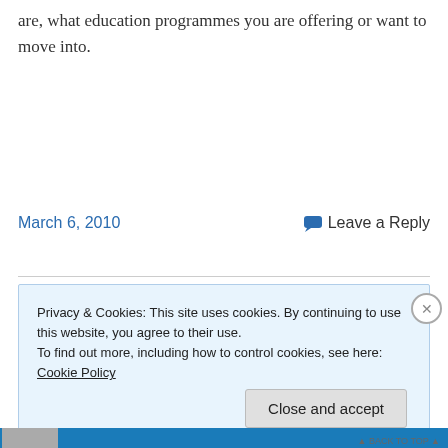are, what education programmes you are offering or want to move into.
March 6, 2010
Leave a Reply
Privacy & Cookies: This site uses cookies. By continuing to use this website, you agree to their use.
To find out more, including how to control cookies, see here: Cookie Policy
Close and accept